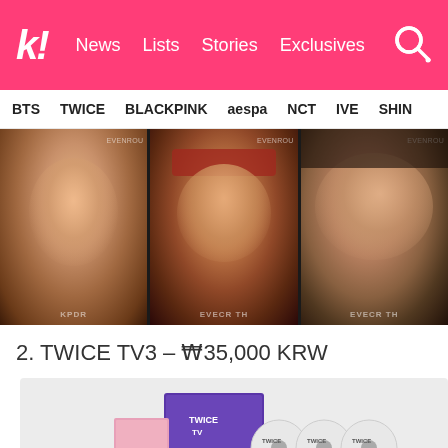k! News Lists Stories Exclusives
BTS TWICE BLACKPINK aespa NCT IVE SHINE
[Figure (photo): Three K-pop idol photos side by side showing three young women's faces close up]
2. TWICE TV3 – ₩35,000 KRW
[Figure (photo): TWICE TV3 DVD box set product photo showing purple box with multiple discs labeled TWICE]